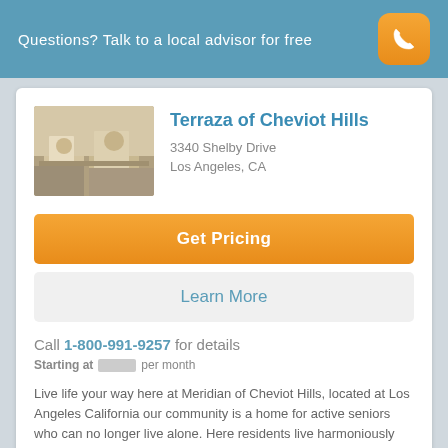Questions? Talk to a local advisor for free
Terraza of Cheviot Hills
3340 Shelby Drive
Los Angeles, CA
Get Pricing
Learn More
Call 1-800-991-9257 for details
Starting at [redacted] per month
Live life your way here at Meridian of Cheviot Hills, located at Los Angeles California our community is a home for active seniors who can no longer live alone. Here residents live harmoniously and treated each other as family and by the staff.